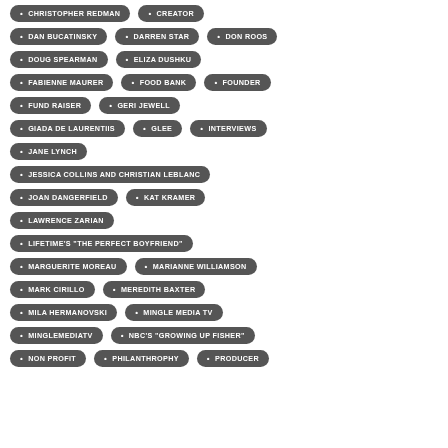CHRISTOPHER REDMAN
CREATOR
DAN BUCATINSKY
DARREN STAR
DON ROOS
DOUG SPEARMAN
ELIZA DUSHKU
FABIENNE MAURER
FOOD BANK
FOUNDER
FUND RAISER
GERI JEWELL
GIADA DE LAURENTIIS
GLEE
INTERVIEWS
JANE LYNCH
JESSICA COLLINS AND CHRISTIAN LEBLANC
JOAN DANGERFIELD
KAT KRAMER
LAWRENCE ZARIAN
LIFETIME'S "THE PERFECT BOYFRIEND"
MARGUERITE MOREAU
MARIANNE WILLIAMSON
MARK CIRILLO
MEREDITH BAXTER
MILA HERMANOVSKI
MINGLE MEDIA TV
MINGLEMEDIATV
NBC'S "GROWING UP FISHER"
NON PROFIT
PHILANTHROPHY
PRODUCER